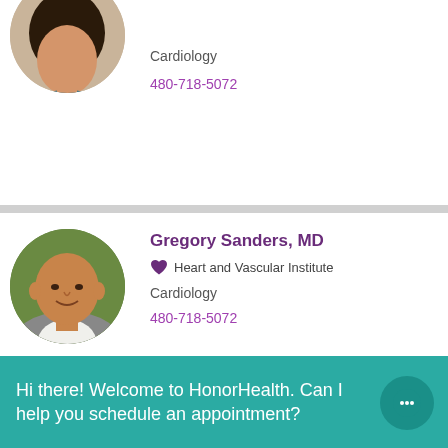[Figure (photo): Partial circular avatar photo of a woman in a teal top, cropped at top]
Cardiology
480-718-5072
[Figure (photo): Circular avatar photo of Gregory Sanders MD, a bald man smiling in a grey blazer]
Gregory Sanders, MD
Heart and Vascular Institute
Cardiology
480-718-5072
[Figure (photo): Partial circular avatar photo of Maulik Shah MD, a man with dark hair]
Maulik Shah, MD
480-718-5072
Hi there! Welcome to HonorHealth. Can I help you schedule an appointment?